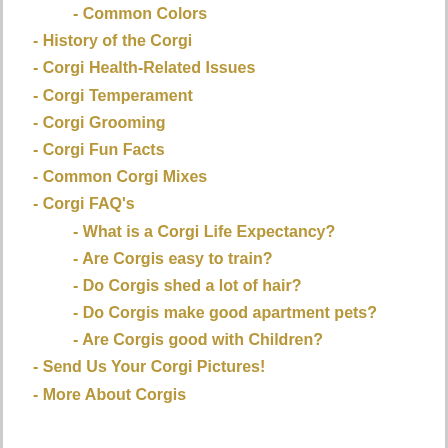- Common Colors
- History of the Corgi
- Corgi Health-Related Issues
- Corgi Temperament
- Corgi Grooming
- Corgi Fun Facts
- Common Corgi Mixes
- Corgi FAQ's
- What is a Corgi Life Expectancy?
- Are Corgis easy to train?
- Do Corgis shed a lot of hair?
- Do Corgis make good apartment pets?
- Are Corgis good with Children?
- Send Us Your Corgi Pictures!
- More About Corgis